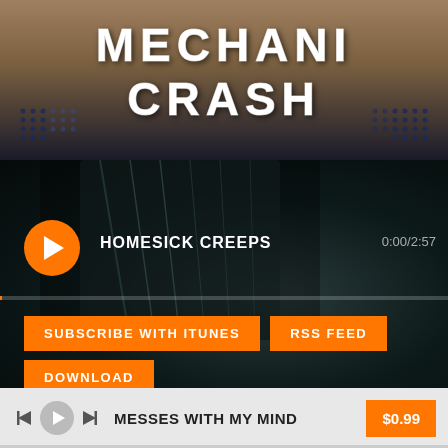[Figure (screenshot): Mechani Crash band logo/album art with stylized white text on textured burlap background with dark blue dot grid patterns]
[Figure (screenshot): Music player widget showing guitar image background, play button, track name HOMESICK CREEPS, time 0:00/2:57, progress bar, and orange buttons for SUBSCRIBE WITH ITUNES, RSS FEED, DOWNLOAD]
[Figure (screenshot): Bottom music player bar with prev/play/next controls, track name MESSES WITH MY MIND, and $0.99 buy button]